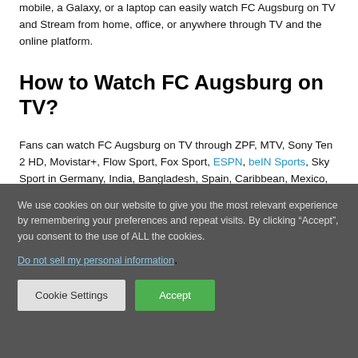mobile, a Galaxy, or a laptop can easily watch FC Augsburg on TV and Stream from home, office, or anywhere through TV and the online platform.
How to Watch FC Augsburg on TV?
Fans can watch FC Augsburg on TV through ZPF, MTV, Sony Ten 2 HD, Movistar+, Flow Sport, Fox Sport, ESPN, beIN Sports, Sky Sport in Germany, India, Bangladesh, Spain, Caribbean, Mexico, the US, New Zealand, and Italy respectively.
Apart from those, you can watch on Migu in China, ESPN in South American countries, Brand on Football in Brazil,s and BT sports in
We use cookies on our website to give you the most relevant experience by remembering your preferences and repeat visits. By clicking “Accept”, you consent to the use of ALL the cookies.
Do not sell my personal information.
Cookie Settings   Accept